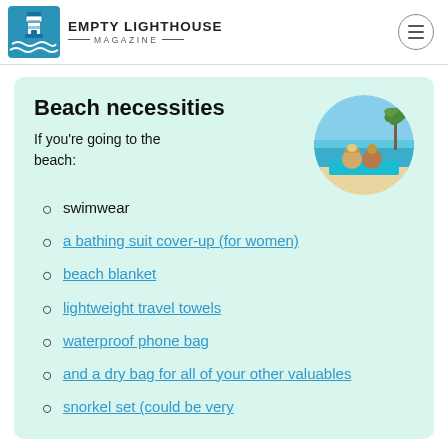EMPTY LIGHTHOUSE MAGAZINE
Beach necessities
If you're going to the beach:
[Figure (photo): Circular photo of two people sitting on a blue beach mat facing the ocean under palm trees]
swimwear
a bathing suit cover-up (for women)
beach blanket
lightweight travel towels
waterproof phone bag
and a dry bag for all of your other valuables
snorkel set (could be very ...